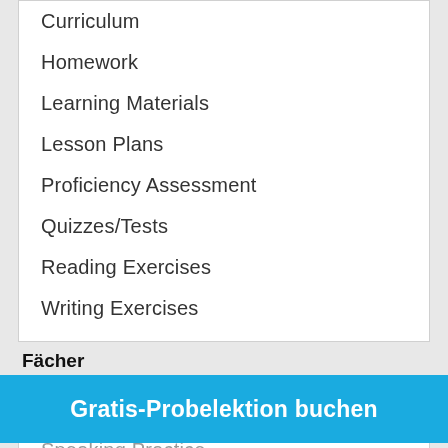Curriculum
Homework
Learning Materials
Lesson Plans
Proficiency Assessment
Quizzes/Tests
Reading Exercises
Writing Exercises
Fächer
Accent Reduction
Business Arabic
Grammar Development
Interview Preparation
Gratis-Probelektion buchen
Speaking Practice